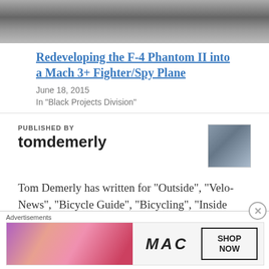[Figure (photo): Black and white photo showing aircraft or landscape, partially cropped at top]
Redeveloping the F-4 Phantom II into a Mach 3+ Fighter/Spy Plane
June 18, 2015
In "Black Projects Division"
PUBLISHED BY
tomdemerly
[Figure (photo): Small avatar photo of author tomdemerly]
Tom Demerly has written for "Outside", "Velo-News", "Bicycle Guide", "Bicycling", "Inside Triathlon", "Triathlete", "Triathlon Today!", "USA Triathlon Magazine" and many other
Advertisements
[Figure (photo): MAC cosmetics advertisement showing lipsticks and SHOP NOW box]